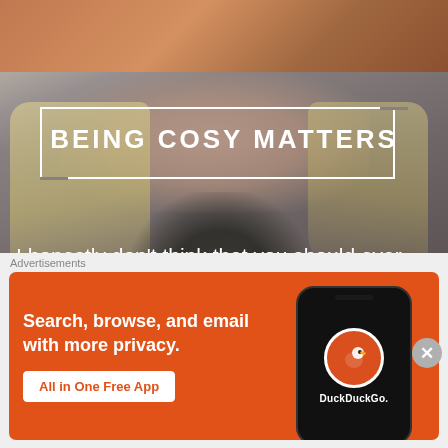[Figure (photo): Screenshot of a webpage. Top portion shows a photo of a woman with blonde hair and a necklace, with a warm brownish blurred area at the very top. Overlaid on the photo is a white rectangular border containing the title 'BEING COSY MATTERS' in bold white uppercase letters. Below the title is white text reading: 'I honestly don't think that you should ever feel uncomfortable in whatever you wear and that'. A circular close button (X) appears on the right side. The bottom portion shows an advertisement overlay for DuckDuckGo with an orange background.]
BEING COSY MATTERS
I honestly don't think that you should ever feel uncomfortable in whatever you wear and that
Advertisements
[Figure (screenshot): DuckDuckGo advertisement banner on orange background. Text: 'Search, browse, and email with more privacy.' Button: 'All in One Free App'. Right side shows a phone mockup with DuckDuckGo logo and name.]